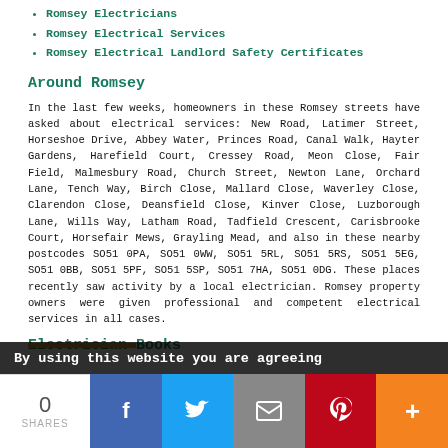Romsey Electricians
Romsey Electrical Services
Romsey Electrical Landlord Safety Certificates
Around Romsey
In the last few weeks, homeowners in these Romsey streets have asked about electrical services: New Road, Latimer Street, Horseshoe Drive, Abbey Water, Princes Road, Canal Walk, Hayter Gardens, Harefield Court, Cressey Road, Meon Close, Fair Field, Malmesbury Road, Church Street, Newton Lane, Orchard Lane, Tench Way, Birch Close, Mallard Close, Waverley Close, Clarendon Close, Deansfield Close, Kinver Close, Luzborough Lane, Wills Way, Latham Road, Tadfield Crescent, Carisbrooke Court, Horsefair Mews, Grayling Mead, and also in these nearby postcodes SO51 0PA, SO51 0WW, SO51 5RL, SO51 5RS, SO51 5EG, SO51 0BB, SO51 5PF, SO51 5SP, SO51 7HA, SO51 0DG. These places recently saw activity by a local electrician. Romsey property owners were given professional and competent electrical services in all cases.
Electrician Books
By using this website you are agreeing